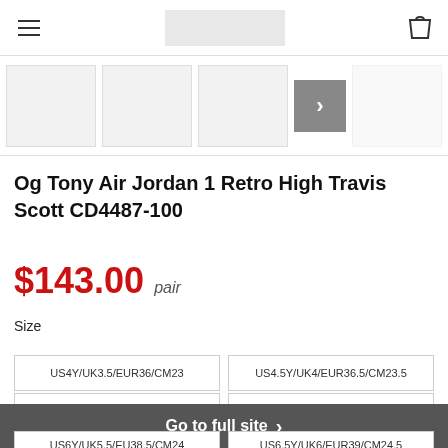Navigation bar with hamburger menu, logo, and cart icon
[Figure (screenshot): Four product image thumbnails in a horizontal row with a right arrow navigation button]
Og Tony Air Jordan 1 Retro High Travis Scott CD4487-100
$143.00  pair
Size
US4Y/UK3.5/EUR36/CM23
US4.5Y/UK4/EUR36.5/CM23.5
US5Y/UK4.5/EUR37.5/CM23.5
US5.5Y/UK5/EU38/CM24
US6Y/UK5.5/EU38.5/CM24
US6.5Y/UK6/EUR39/CM24.5
Go to full site ›